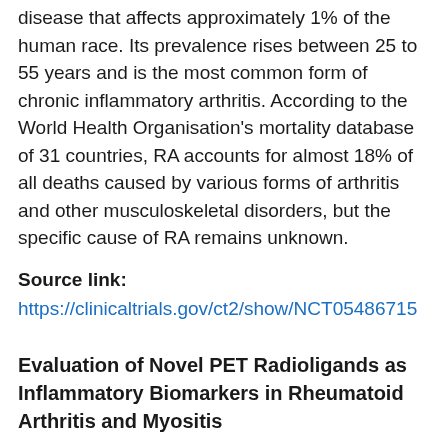disease that affects approximately 1% of the human race. Its prevalence rises between 25 to 55 years and is the most common form of chronic inflammatory arthritis. According to the World Health Organisation's mortality database of 31 countries, RA accounts for almost 18% of all deaths caused by various forms of arthritis and other musculoskeletal disorders, but the specific cause of RA remains unknown.
Source link:
https://clinicaltrials.gov/ct2/show/NCT05486715
Evaluation of Novel PET Radioligands as Inflammatory Biomarkers in Rheumatoid Arthritis and Myositis
This research is designed to determine whether PET imaging using these new radioligands are